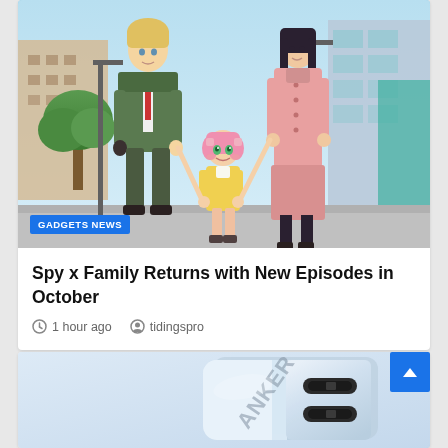[Figure (illustration): Anime illustration from Spy x Family showing three characters — a tall blonde male in a green suit, a young girl with pink hair, and a dark-haired woman in a pink coat — walking together on a city street. A blue 'GADGETS NEWS' badge overlays the bottom-left of the image.]
GADGETS NEWS
Spy x Family Returns with New Episodes in October
1 hour ago   tidingspro
[Figure (photo): Photo of an Anker USB-C charger/power adapter, white/silver colored, with two USB-C ports visible on the front face, shot against a light blue-white gradient background.]